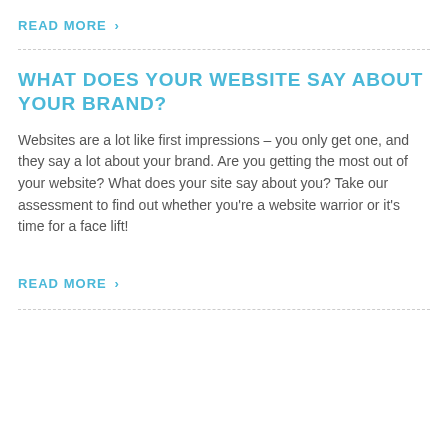READ MORE >
WHAT DOES YOUR WEBSITE SAY ABOUT YOUR BRAND?
Websites are a lot like first impressions – you only get one, and they say a lot about your brand. Are you getting the most out of your website? What does your site say about you? Take our assessment to find out whether you're a website warrior or it's time for a face lift!
READ MORE >